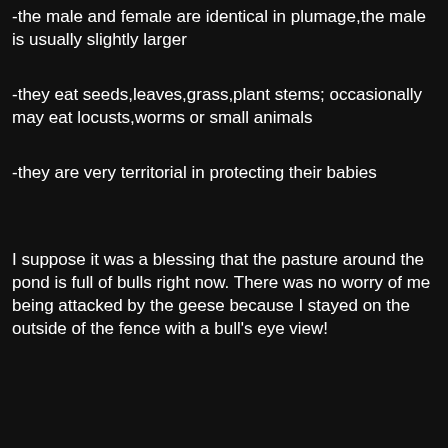-the male and female are identical in plumage,the male is usually slightly larger
-they eat seeds,leaves,grass,plant stems; occasionally may eat locusts,worms or small animals
-they are very territorial in protecting their babies
I suppose it was a blessing that the pasture around the pond is full of bulls right now. There was no worry of me being attacked by the geese because I stayed on the outside of the fence with a bull's eye view!